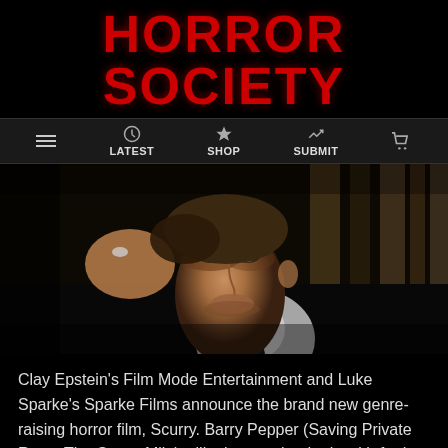HORROR SOCIETY
LATEST  SHOP  SUBMIT
[Figure (photo): Close-up portrait of Barry Pepper, a middle-aged white man in a dark suit and white shirt, resting his head on his hand, looking contemplative, against a warm dark background.]
Clay Epstein's Film Mode Entertainment and Luke Sparke's Sparke Films announce the brand new genre-raising horror film, Scurry. Barry Pepper (Saving Private Ryan, The Green Mile) will take on a lead role with further casting announcements to come.